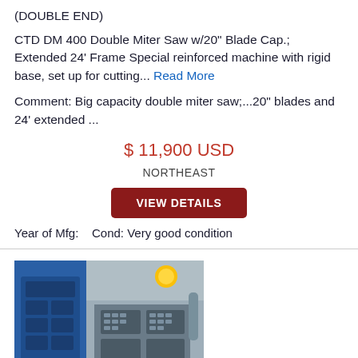(DOUBLE END)
CTD DM 400 Double Miter Saw w/20" Blade Cap.; Extended 24' Frame Special reinforced machine with rigid base, set up for cutting... Read More
Comment: Big capacity double miter saw;...20" blades and 24' extended ...
$ 11,900 USD
NORTHEAST
VIEW DETAILS
Year of Mfg:    Cond: Very good condition
[Figure (photo): Industrial CNC machine or miter saw control panel with blue interface and yellow indicator light, gray housing]